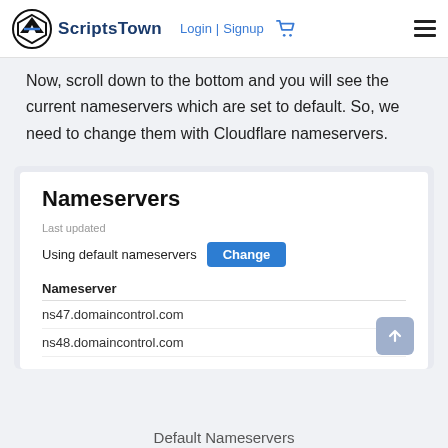ScriptsTown  Login | Signup
Now, scroll down to the bottom and you will see the current nameservers which are set to default. So, we need to change them with Cloudflare nameservers.
[Figure (screenshot): A UI panel titled 'Nameservers' showing 'Last updated', 'Using default nameservers' with a Change button, and a table listing ns47.domaincontrol.com and ns48.domaincontrol.com. A scroll-to-top button is visible at the bottom right.]
Default Nameservers